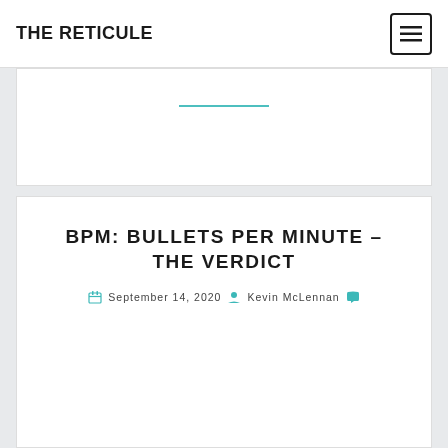THE RETICULE
BPM: BULLETS PER MINUTE – THE VERDICT
September 14, 2020  Kevin McLennan
Privacy & Cookies: This site uses cookies. By continuing to use this website, you agree to their use.
To find out more, including how to control cookies, see here: Cookie Policy
Close and accept
FPS rogue-like. I wasn't quite sure what that meant at